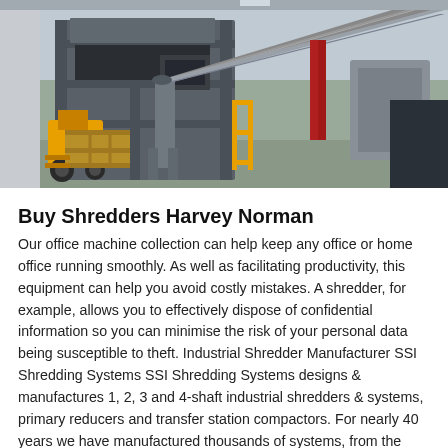[Figure (photo): Industrial shredding equipment inside a warehouse facility. A large industrial shredder machine is visible with a yellow forklift and wooden crate in the foreground. A long conveyor belt runs diagonally from the machine toward the upper right. The interior of an industrial building with concrete walls is visible in the background.]
Buy Shredders Harvey Norman
Our office machine collection can help keep any office or home office running smoothly. As well as facilitating productivity, this equipment can help you avoid costly mistakes. A shredder, for example, allows you to effectively dispose of confidential information so you can minimise the risk of your personal data being susceptible to theft. Industrial Shredder Manufacturer SSI Shredding Systems SSI Shredding Systems designs & manufactures 1, 2, 3 and 4-shaft industrial shredders & systems, primary reducers and transfer station compactors. For nearly 40 years we have manufactured thousands of systems, from the simple to the unique. We are a group of highly dedicated and talented engineers, designers, and technicians.